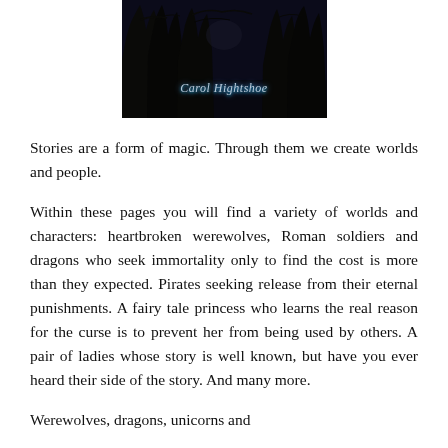[Figure (illustration): Dark book cover image with silhouetted trees against a night sky, featuring the author name 'Carol Hightshoe' in stylized script text]
Stories are a form of magic. Through them we create worlds and people.
Within these pages you will find a variety of worlds and characters: heartbroken werewolves, Roman soldiers and dragons who seek immortality only to find the cost is more than they expected. Pirates seeking release from their eternal punishments. A fairy tale princess who learns the real reason for the curse is to prevent her from being used by others. A pair of ladies whose story is well known, but have you ever heard their side of the story. And many more.
Werewolves, dragons, unicorns and